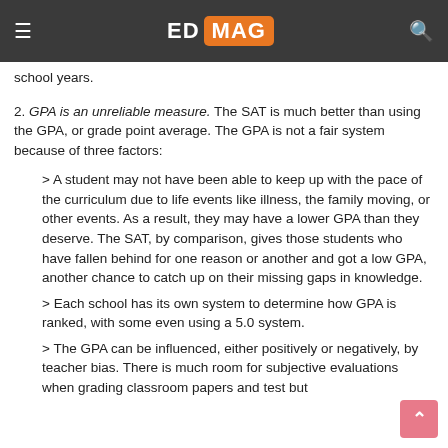ED MAG
who are taking the test measures the scholastic reasoning skills that they should have acquired by the end of their high school years.
2. GPA is an unreliable measure. The SAT is much better than using the GPA, or grade point average. The GPA is not a fair system because of three factors:
> A student may not have been able to keep up with the pace of the curriculum due to life events like illness, the family moving, or other events. As a result, they may have a lower GPA than they deserve. The SAT, by comparison, gives those students who have fallen behind for one reason or another and got a low GPA, another chance to catch up on their missing gaps in knowledge.
> Each school has its own system to determine how GPA is ranked, with some even using a 5.0 system.
> The GPA can be influenced, either positively or negatively, by teacher bias. There is much room for subjective evaluations when grading classroom papers and test but with the SAT, the answers are standardized in their scoring and